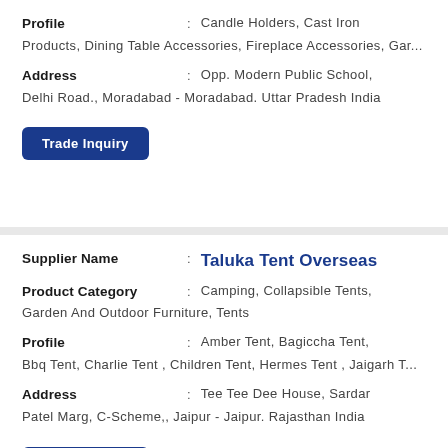Profile : Candle Holders, Cast Iron Products, Dining Table Accessories, Fireplace Accessories, Gar...
Address : Opp. Modern Public School, Delhi Road., Moradabad - Moradabad. Uttar Pradesh India
Trade Inquiry
Supplier Name : Taluka Tent Overseas
Product Category : Camping, Collapsible Tents, Garden And Outdoor Furniture, Tents
Profile : Amber Tent, Bagiccha Tent, Bbq Tent, Charlie Tent , Children Tent, Hermes Tent , Jaigarh T...
Address : Tee Tee Dee House, Sardar Patel Marg, C-Scheme,, Jaipur - Jaipur. Rajasthan India
Trade Inquiry